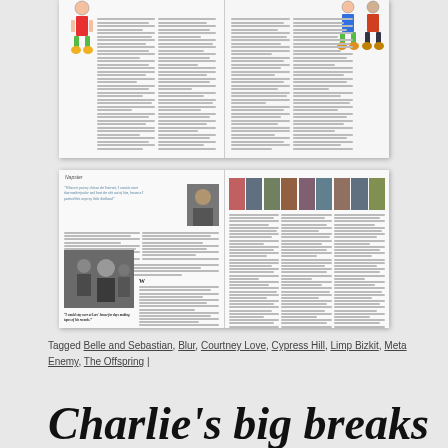[Figure (photo): Top magazine spread showing illustrated cartoon figures on left and right sides with multi-column text content]
[Figure (photo): Bottom magazine spread showing Napster-related article with quote, portrait photo, band photos row, article photo, and multi-column text. Quote reads: 'Whoever put my shit on the Internet, I want to meet that motherfucker and beat the shit out of him, because I painted this anyway little dickhead'. Bottom photo quote: 'I would stay over at Lars' house for days making tapes of his records.']
Tagged Belle and Sebastian, Blur, Courtney Love, Cypress Hill, Limp Bizkit, Meta... Enemy, The Offspring |
Charlie's big breaks